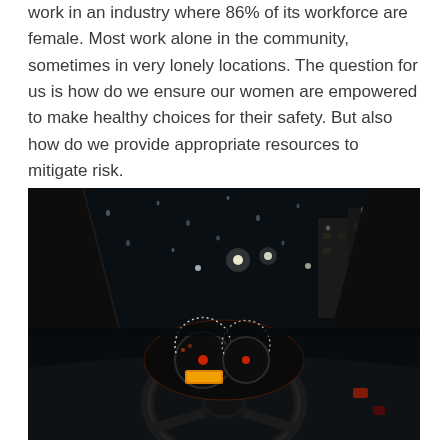work in an industry where 86% of its workforce are female. Most work alone in the community, sometimes in very lonely locations. The question for us is how do we ensure our women are empowered to make healthy choices for their safety. But also how do we provide appropriate resources to mitigate risk.
[Figure (photo): Night-time view from inside a car, showing the dashboard with illuminated speedometer and instrument cluster glowing orange/red, and the rain-speckled windshield looking out at a dark, wet urban street with distant lights and buildings.]